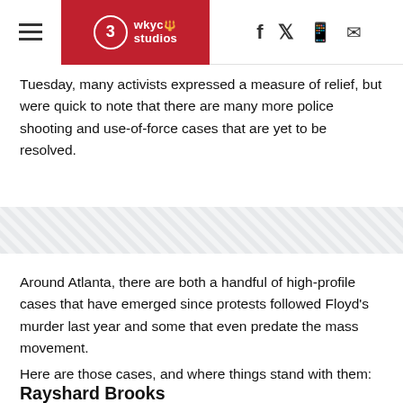WKYC 3 Studios
Tuesday, many activists expressed a measure of relief, but were quick to note that there are many more police shooting and use-of-force cases that are yet to be resolved.
[Figure (other): Diagonal stripe decorative divider band]
Around Atlanta, there are both a handful of high-profile cases that have emerged since protests followed Floyd's murder last year and some that even predate the mass movement.
Here are those cases, and where things stand with them:
Rayshard Brooks